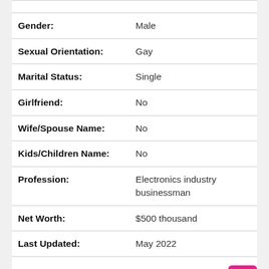| Field | Value |
| --- | --- |
| Gender: | Male |
| Sexual Orientation: | Gay |
| Marital Status: | Single |
| Girlfriend: | No |
| Wife/Spouse Name: | No |
| Kids/Children Name: | No |
| Profession: | Electronics industry businessman |
| Net Worth: | $500 thousand |
| Last Updated: | May 2022 |
Height, Weight, and Body measurements